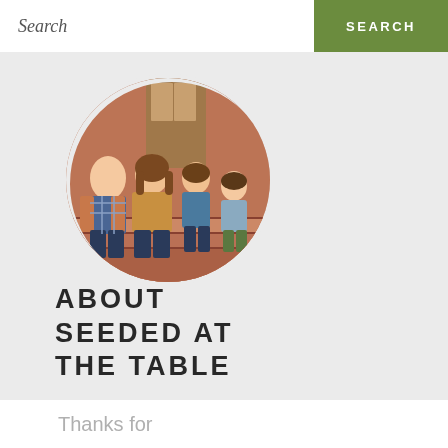Search | SEARCH
[Figure (photo): Circular profile photo of a family of four sitting on brick front steps: a man in plaid shirt, a woman in mustard jacket and navy top, and two boys in blue/grey casual wear, in front of a house door]
ABOUT SEEDED AT THE TABLE
Thanks for